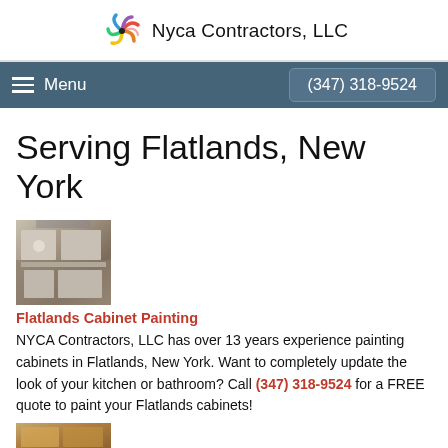Nyca Contractors, LLC
Menu  (347) 318-9524
Serving Flatlands, New York
[Figure (photo): Kitchen with white cabinets and appliances]
Flatlands Cabinet Painting
NYCA Contractors, LLC has over 13 years experience painting cabinets in Flatlands, New York. Want to completely update the look of your kitchen or bathroom? Call (347) 318-9524 for a FREE quote to paint your Flatlands cabinets!
[Figure (photo): Partial view of another cabinet painting example]